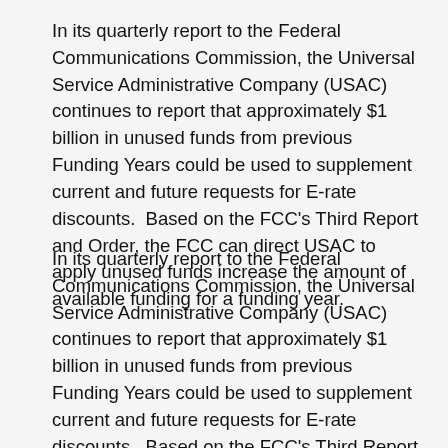In its quarterly report to the Federal Communications Commission, the Universal Service Administrative Company (USAC) continues to report that approximately $1 billion in unused funds from previous Funding Years could be used to supplement current and future requests for E-rate discounts.  Based on the FCC's Third Report and Order, the FCC can direct USAC to apply unused funds increase the amount of available funding for a funding year.
In its quarterly report to the Federal Communications Commission, the Universal Service Administrative Company (USAC) continues to report that approximately $1 billion in unused funds from previous Funding Years could be used to supplement current and future requests for E-rate discounts.  Based on the FCC's Third Report and Order, the FCC can direct USAC to apply